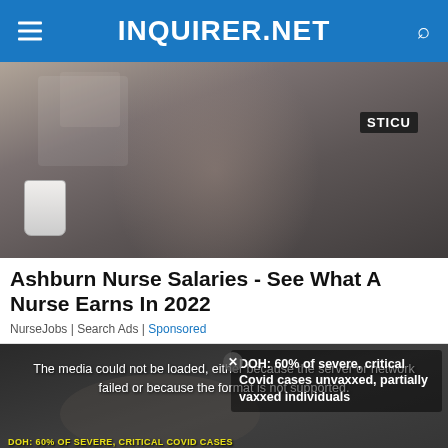INQUIRER.NET
[Figure (photo): A nurse in gray scrubs sitting in a hospital break room, holding a coffee cup, with a stethoscope around her neck and a badge on her chest. A STICU labeled bag is visible in the background.]
Ashburn Nurse Salaries - See What A Nurse Earns In 2022
NurseJobs | Search Ads | Sponsored
[Figure (screenshot): A video player showing a media error message: 'The media could not be loaded, either because the server or network failed or because the format is not supported.' Overlaid on a dark video frame with a lower-third graphic reading 'DOH: 60% OF SEVERE, CRITICAL COVID CASES UNVAXXED, PARTIALLY VAXXED INDIVIDUALS'. A sidebar shows the title: 'DOH: 60% of severe, critical Covid cases unvaxxed, partially vaxxed individuals'. There is an X close button at the bottom.]